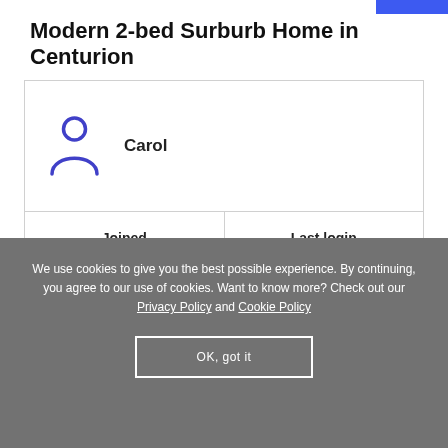Modern 2-bed Surburb Home in Centurion
| Joined | Last login |
| --- | --- |
| Jan 2018 | Over a month |
Carol
Want to contact this member?
Start your two-week free trial to chat to other members
We use cookies to give you the best possible experience. By continuing, you agree to our use of cookies. Want to know more? Check out our Privacy Policy and Cookie Policy
OK, got it